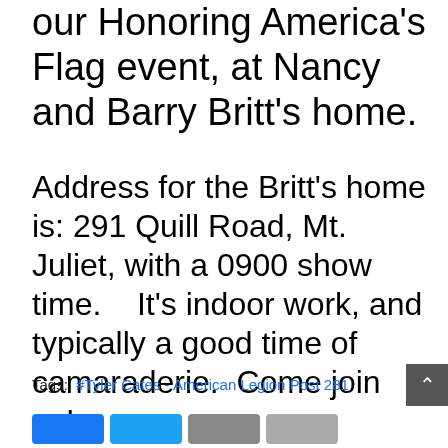our Honoring America's Flag event, at Nancy and Barry Britt's home.
Address for the Britt's home is: 291 Quill Road, Mt. Juliet, with a 0900 show time.    It's indoor work, and typically a good time of camaraderie.  Come join us!
Tags:  #Tyler Cates - American Legion Post 281